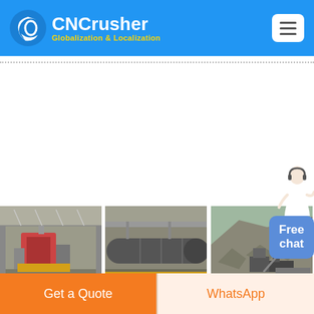CNCrusher — Globalization & Localization
[Figure (photo): Three-panel industrial image strip showing: (1) factory interior with crusher machinery, (2) large industrial cylindrical mill in warehouse, (3) outdoor quarry/mining site with excavators and rock piles]
10 TOP HOTELS IN AL AIN | PLACES TO STAY W/ 24/7 FRIENDLY ...
The Garden City of the United Arab Emirates, Al Ain, is a green
Get a Quote | WhatsApp